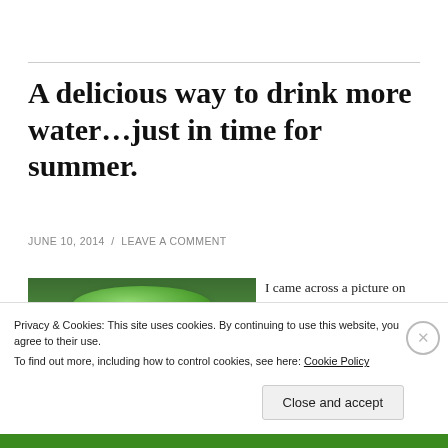A delicious way to drink more water...just in time for summer.
JUNE 10, 2014  /  LEAVE A COMMENT
[Figure (photo): A green glass mason jar viewed from above/side, showing the ribbed lid and body, against a wooden background]
I came across a picture on Pinterest a few days ago of a
Privacy & Cookies: This site uses cookies. By continuing to use this website, you agree to their use.
To find out more, including how to control cookies, see here: Cookie Policy